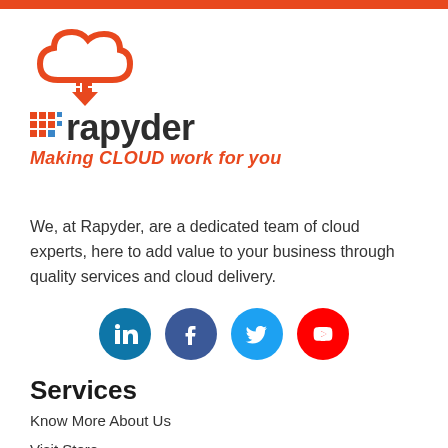[Figure (logo): Rapyder logo with cloud icon and tagline 'Making CLOUD work for you']
We, at Rapyder, are a dedicated team of cloud experts, here to add value to your business through quality services and cloud delivery.
[Figure (illustration): Four social media icons: LinkedIn (blue), Facebook (dark blue), Twitter (light blue), YouTube (red)]
Services
Know More About Us
Visit Store
Let's Connect